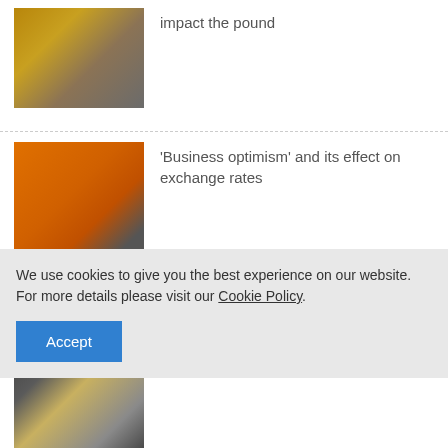impact the pound
'Business optimism' and its effect on exchange rates
The pound and interest rates
How do currency forecasts fare against reality?
We use cookies to give you the best experience on our website. For more details please visit our Cookie Policy.
Accept
Log in | Register | 020 7898 0500